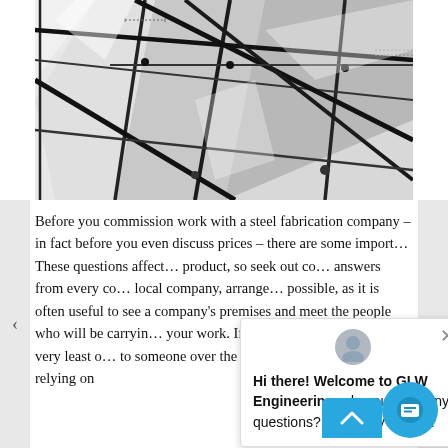[Figure (photo): Black and white photograph of steel structural frame with glass panels and angular cross-bracing elements, architectural/industrial subject]
Before you commission work with a steel fabrication company – in fact before you even discuss prices – there are some import… These questions affect… product, so seek out co… answers from every co… local company, arrange… possible, as it is often useful to see a company's premises and meet the people who will be carryin… your work. If this isn't possible, at the very least o… to someone over the phone, rather than just relying on